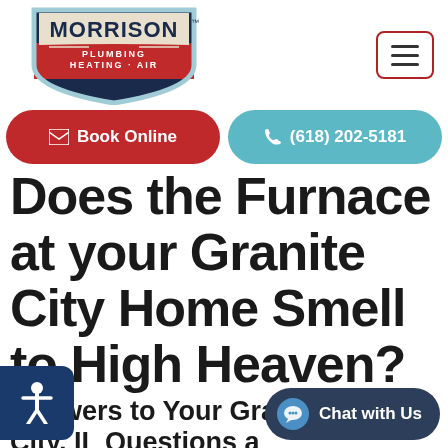[Figure (logo): Morrison Plumbing Heating Air logo — shield shape with dark navy and red colors, company name in bold white text]
[Figure (other): Hamburger menu button — three horizontal lines inside a rounded red-bordered rectangle]
Book Online
(618) 202-5181
Does the Furnace at your Granite City Home Smell to High Heaven?
Answers to Your Granite City, IL Questions about